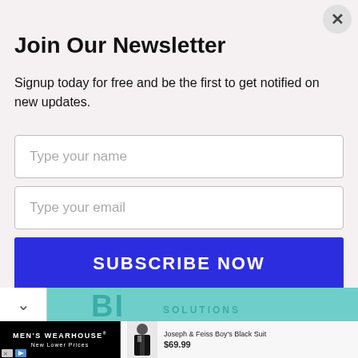Join Our Newsletter
Signup today for free and be the first to get notified on new updates.
[Figure (screenshot): Newsletter signup form with name input field (placeholder: Type your name), email input field (placeholder: Type your email), and a blue SUBSCRIBE NOW button]
[Figure (infographic): Teal/turquoise advertisement banner strip with large stylized letters and a collapse chevron on the left side]
[Figure (infographic): Men's Wearhouse advertisement showing black background with white brand name and tagline New Lower Prices, alongside a boy in a black suit labeled Joseph & Feiss Boy's Black Suit priced at $69.99]